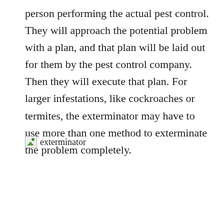person performing the actual pest control. They will approach the potential problem with a plan, and that plan will be laid out for them by the pest control company. Then they will execute that plan. For larger infestations, like cockroaches or termites, the exterminator may have to use more than one method to exterminate the problem completely.
[Figure (photo): Broken/missing image placeholder with alt text 'exterminator']